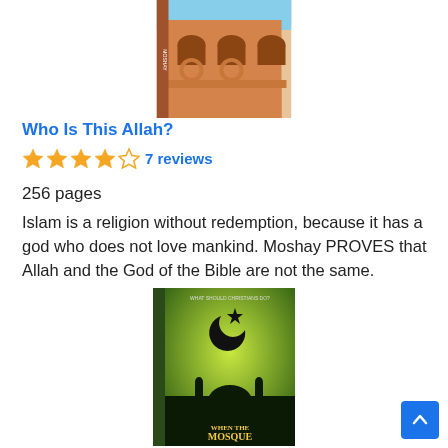[Figure (photo): Top portion of a book cover showing an ornate building with arched windows, orange/brick facade]
Who Is This Allah?
★★★★☆ 7 reviews
256 pages
Islam is a religion without redemption, because it has a god who does not love mankind. Moshay PROVES that Allah and the God of the Bible are not the same.
[Figure (photo): Book cover for 'When The Mosque Comes To Town' showing a mosque silhouette against green rays with crescent moon and star, subtitle 'What Should Christians Do?']